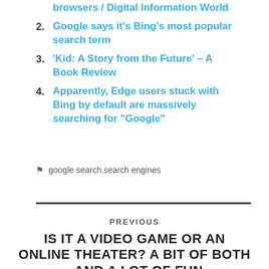browsers / Digital Information World
2. Google says it’s Bing’s most popular search term
3. ‘Kid: A Story from the Future’ – A Book Review
4. Apparently, Edge users stuck with Bing by default are massively searching for “Google”
google search,search engines
PREVIOUS
IS IT A VIDEO GAME OR AN ONLINE THEATER? A BIT OF BOTH - AND A LOT OF FUN